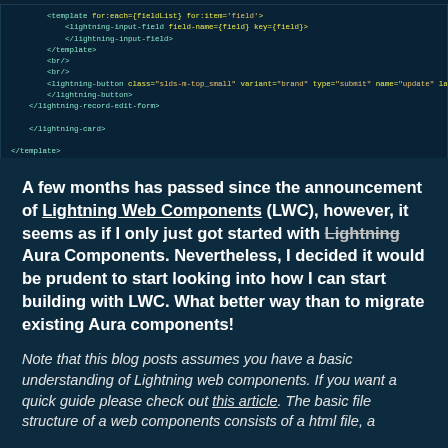[Figure (screenshot): Code block showing Lightning Web Component HTML template with lightning-input-field, lightning-button, and lightning-record-edit-form tags in a dark code editor style with yellow/teal syntax highlighting]
A few months has passed since the announcement of Lightning Web Components (LWC), however, it seems as if I only just got started with Lightning Aura Components. Nevertheless, I decided it would be prudent to start looking into how I can start building with LWC. What better way than to migrate existing Aura components!
Note that this blog posts assumes you have a basic understanding of Lightning web components. If you want a quick guide please check out this article. The basic file structure of a web components consists of a html file, a